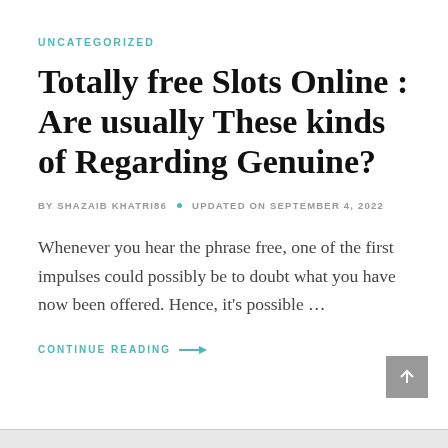UNCATEGORIZED
Totally free Slots Online : Are usually These kinds of Regarding Genuine?
BY SHAZAIB KHATRI86 • UPDATED ON SEPTEMBER 4, 2022
Whenever you hear the phrase free, one of the first impulses could possibly be to doubt what you have now been offered. Hence, it's possible ...
CONTINUE READING →